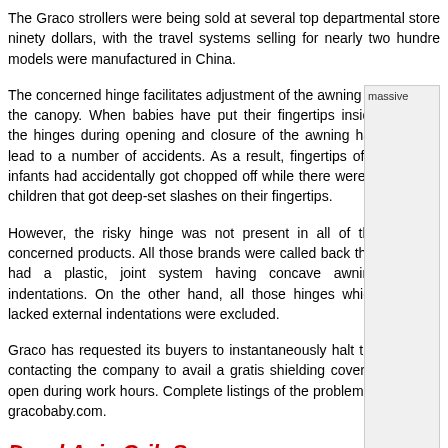The Graco strollers were being sold at several top departmental store ninety dollars, with the travel systems selling for nearly two hundre models were manufactured in China.
The concerned hinge facilitates adjustment of the awning or the canopy. When babies have put their fingertips inside the hinges during opening and closure of the awning has lead to a number of accidents. As a result, fingertips of 5 infants had accidentally got chopped off while there were 2 children that got deep-set slashes on their fingertips.
[Figure (photo): Image with alt text 'massive' visible in top right area]
However, the risky hinge was not present in all of the concerned products. All those brands were called back that had a plastic, joint system having concave awning indentations. On the other hand, all those hinges which lacked external indentations were excluded.
Graco has requested its buyers to instantaneously halt the use of th contacting the company to avail a gratis shielding cover repair gear open during work hours. Complete listings of the problem-causing mo gracobaby.com.
Dorel Asia Crib Snares
More than six lakh Dorel Asia cribs were called back inclusive of th